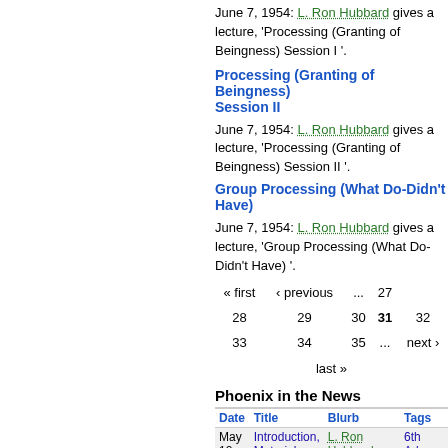June 7, 1954: L. Ron Hubbard gives a lecture, 'Processing (Granting of Beingness) Session I '.
Processing (Granting of Beingness) Session II
June 7, 1954: L. Ron Hubbard gives a lecture, 'Processing (Granting of Beingness) Session II '.
Group Processing (What Do-Didn't Have)
June 7, 1954: L. Ron Hubbard gives a lecture, 'Group Processing (What Do-Didn't Have) '.
« first  ‹ previous  ...  27
28  29  30  31  32
33  34  35  ...  next ›
last »
Phoenix in the News
| Date | Title | Blurb | Tags |
| --- | --- | --- | --- |
| May 10, 1954 | Introduction, Materials and Publications | L. Ron Hubbard gives a lecture, 'Introduction, Materials and Publications '. | 6th Advanced Clinical Course, lectures, Phoenix |
|  |  | L. Ron Hubbard gives a ... | 5th Advanced |